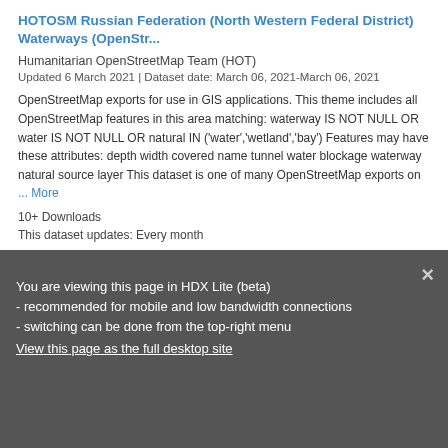HOTOSM Russian Federation (North Western Federal District) Waterways (OpenStr...
Humanitarian OpenStreetMap Team (HOT)
Updated 6 March 2021 | Dataset date: March 06, 2021-March 06, 2021
OpenStreetMap exports for use in GIS applications. This theme includes all OpenStreetMap features in this area matching: waterway IS NOT NULL OR water IS NOT NULL OR natural IN ('water','wetland','bay') Features may have these attributes: depth width covered name tunnel water blockage waterway natural source layer This dataset is one of many OpenStreetMap exports on ... More
10+ Downloads
This dataset updates: Every month
SHP  GEOPACKAGE  KML
You are viewing this page in HDX Lite (beta) - recommended for mobile and low bandwidth connections - switching can be done from the top-right menu
View this page as the full desktop site
HOTOSM Russian Federation (North Western Federal District) Roads (OpenStreetM...
Humanitarian OpenStreetMap Team (HOT)
Updated 6 March 2021 | Dataset date: March 06, 2021-March 06, 2021